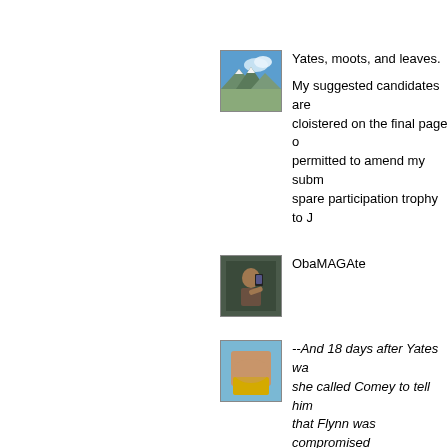[Figure (photo): Avatar thumbnail showing mountain landscape with blue sky and clouds]
Yates, moots, and leaves.

My suggested candidates are cloistered on the final page o... permitted to amend my subm... spare participation trophy to J...
[Figure (photo): Avatar thumbnail showing a person taking a selfie in a mirror]
ObaMAGAte
[Figure (photo): Avatar thumbnail showing a person in a yellow swimsuit]
--And 18 days after Yates wa... she called Comey to tell him ... that Flynn was compromised... over to interview him.

What a coincidence!--

Rocco,
If I understood Ext correctly s...